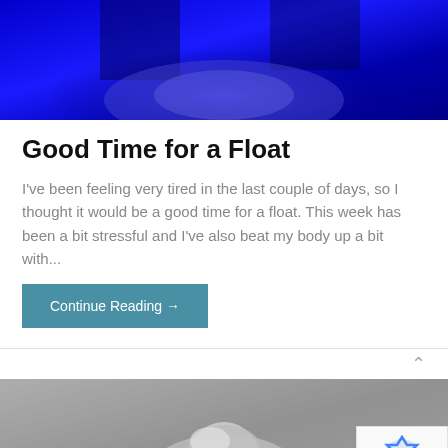[Figure (photo): Blue-toned interior photo, likely a float tank room with blue lighting]
Good Time for a Float
I've been feeling very tired in the last couple of days, so I thought it would be a good time for a float. This week has been a bit stressful and I've also beat my body up a bit with...
Continue Reading →
[Figure (photo): Black and white photo of a person with light hair, outdoors against a textured background]